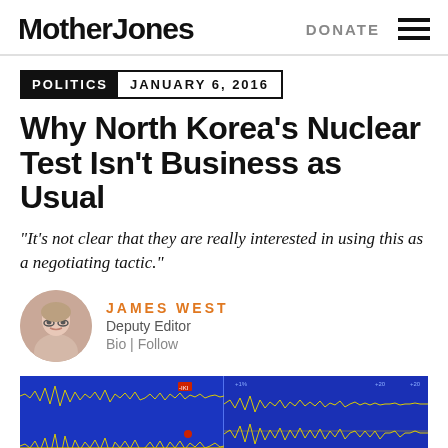Mother Jones | DONATE
POLITICS   JANUARY 6, 2016
Why North Korea's Nuclear Test Isn't Business as Usual
“It’s not clear that they are really interested in using this as a negotiating tactic.”
JAMES WEST
Deputy Editor
Bio | Follow
[Figure (photo): Seismograph readings showing waveforms on a blue background, depicting seismic activity from North Korea's nuclear test]